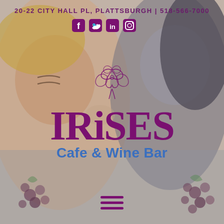[Figure (illustration): Artistic painting background showing stylized figures of women with flowing hair, soft pastel tones of blue, tan, and grey, with grape clusters visible in lower corners]
20-22 CITY HALL PL, PLATTSBURGH | 518-566-7000
[Figure (infographic): Social media icons: Facebook, Twitter, LinkedIn, Instagram in purple]
[Figure (logo): Irises Cafe & Wine Bar logo with decorative iris flower above the text IRISES in large purple serif font, and Cafe & Wine Bar in blue sans-serif below]
Cafe & Wine Bar
[Figure (infographic): Hamburger menu icon (three horizontal purple lines)]